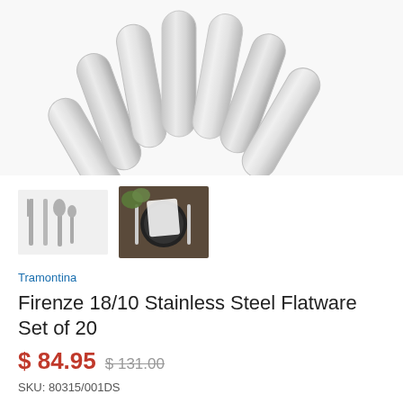[Figure (photo): Close-up photo of stainless steel flatware handles fanned out on white background]
[Figure (photo): Thumbnail of flatware set laid out on white background showing fork, knife and spoon]
[Figure (photo): Thumbnail of flatware placed on a dark plate with napkin at a table setting]
Tramontina
Firenze 18/10 Stainless Steel Flatware Set of 20
$ 84.95  $ 131.00
SKU: 80315/001DS